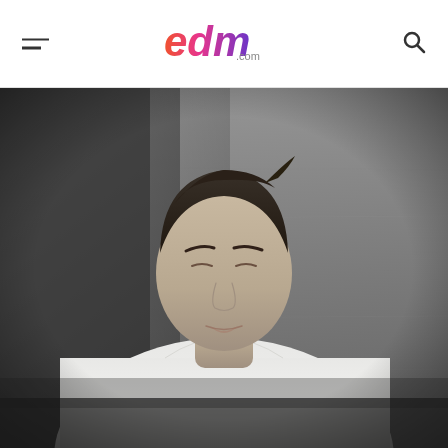edm.com
[Figure (photo): Young man with dark hair wearing a white t-shirt, eyes closed, photographed against a concrete wall background in black and white / desaturated style. The photo is used as an editorial image on edm.com website.]